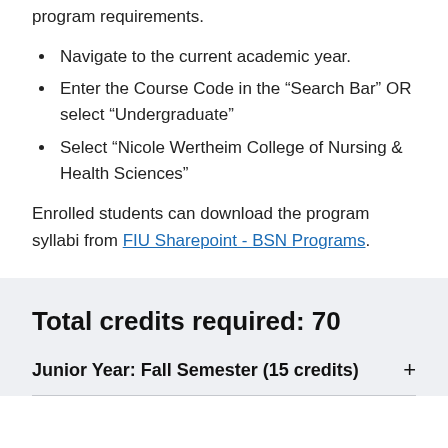program requirements.
Navigate to the current academic year.
Enter the Course Code in the “Search Bar” OR select “Undergraduate”
Select “Nicole Wertheim College of Nursing & Health Sciences”
Enrolled students can download the program syllabi from FIU Sharepoint - BSN Programs.
Total credits required: 70
Junior Year: Fall Semester (15 credits)